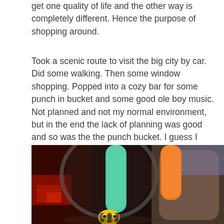get one quality of life and the other way is completely different. Hence the purpose of shopping around.
Took a scenic route to visit the big city by car. Did some walking. Then some window shopping. Popped into a cozy bar for some punch in bucket and some good ole boy music. Not planned and not my normal environment, but in the end the lack of planning was good and so was the the punch bucket. I guess I sucked it from the bucket.
[Figure (photo): Close-up photo of a punch bucket with a bee decoration and two large straws (one teal/green and one orange), with a tattooed arm and red-lit bar background visible.]